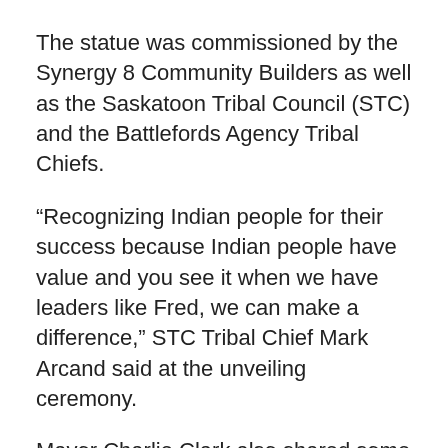The statue was commissioned by the Synergy 8 Community Builders as well as the Saskatoon Tribal Council (STC) and the Battlefords Agency Tribal Chiefs.
“Recognizing Indian people for their success because Indian people have value and you see it when we have leaders like Fred, we can make a difference,” STC Tribal Chief Mark Arcand said at the unveiling ceremony.
Mayor Charlie Clark also shared some words on what it means to have this statue in Saskatoon on Treaty 6 territory.
“Kids walking up the steps will see Fred Sasakamoose on one side, Gordie Howe on the